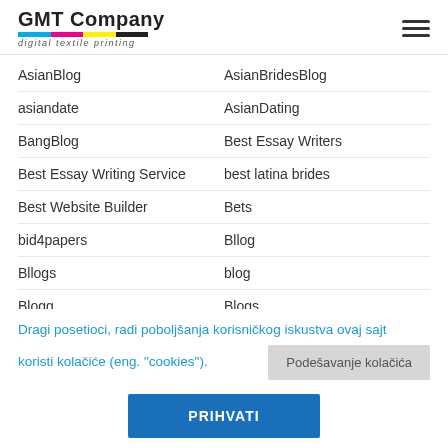GMT Company digital textile printing
AsianBlog
AsianBridesBlog
asiandate
AsianDating
BangBlog
Best Essay Writers
Best Essay Writing Service
best latina brides
Best Website Builder
Bets
bid4papers
Bllog
Bllogs
blog
Blogg
Blogs
Dragi posetioci, radi poboljšanja korisničkog iskustva ovaj sajt koristi kolačiće (eng. "cookies").
Podešavanje kolačića
PRIHVATI